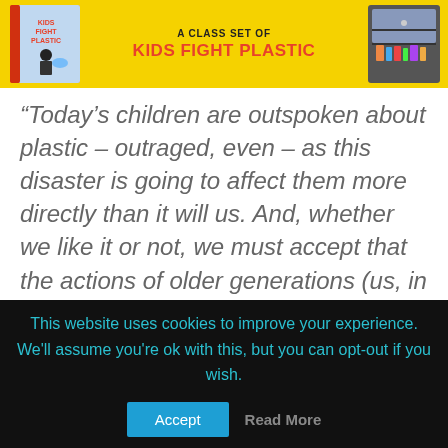[Figure (illustration): Yellow banner advertisement for a class set of Kids Fight Plastic book, with book cover on the left and a bookcase/cabinet image on the right, text 'A CLASS SET OF KIDS FIGHT PLASTIC' in the center]
“Today’s children are outspoken about plastic – outraged, even – as this disaster is going to affect them more directly than it will us. And, whether we like it or not, we must accept that the actions of older generations (us, in fact) are the single biggest cause of plastic
This website uses cookies to improve your experience. We'll assume you're ok with this, but you can opt-out if you wish.